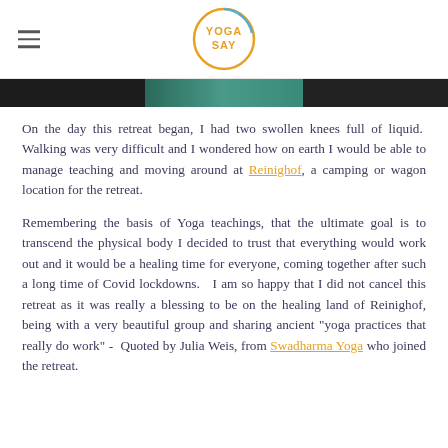Yoga Say (logo)
[Figure (photo): Partial photo strip showing dark and teal outdoor retreat scene]
On the day this retreat began, I had two swollen knees full of liquid.  Walking was very difficult and I wondered how on earth I would be able to manage teaching and moving around at Reinighof, a camping or wagon location for the retreat.
Remembering the basis of Yoga teachings, that the ultimate goal is to transcend the physical body I decided to trust that everything would work out and it would be a healing time for everyone, coming together after such a long time of Covid lockdowns.   I am so happy that I did not cancel this retreat as it was really a blessing to be on the healing land of Reinighof, being with a very beautiful group and sharing ancient "yoga practices that really do work" -  Quoted by Julia Weis, from Swadharma Yoga who joined the retreat.